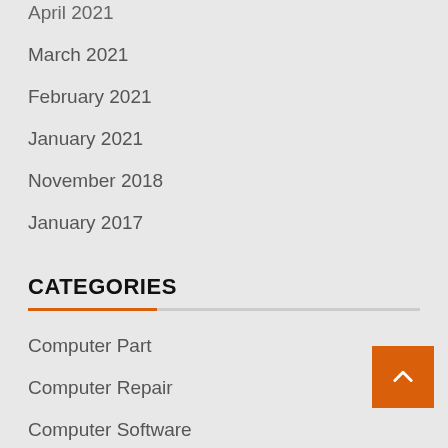April 2021
March 2021
February 2021
January 2021
November 2018
January 2017
CATEGORIES
Computer Part
Computer Repair
Computer Software
Health & Fitness Alternative Medicine